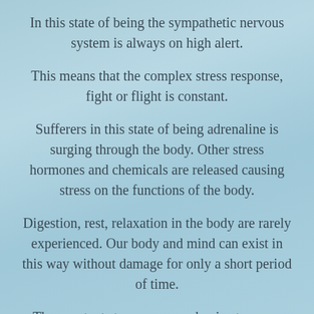In this state of being the sympathetic nervous system is always on high alert.
This means that the complex stress response, fight or flight is constant.
Sufferers in this state of being adrenaline is surging through the body. Other stress hormones and chemicals are released causing stress on the functions of the body.
Digestion, rest, relaxation in the body are rarely experienced. Our body and mind can exist in this way without damage for only a short period of time.
The constant stress response begins to cause deterioration of bodily tissues. The mind on high alert